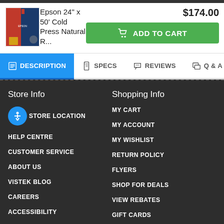[Figure (photo): Product image of Epson 24" x 50' Cold Press Natural paper roll]
Epson 24" x 50' Cold Press Natural R...
$174.00
ADD TO CART
DESCRIPTION
SPECS
REVIEWS
Q & A
Store Info
Shopping Info
STORE LOCATION
HELP CENTRE
CUSTOMER SERVICE
ABOUT US
VISTEK BLOG
CAREERS
ACCESSIBILITY
PRIVACY POLICY
MY CART
MY ACCOUNT
MY WISHLIST
RETURN POLICY
FLYERS
SHOP FOR DEALS
VIEW REBATES
GIFT CARDS